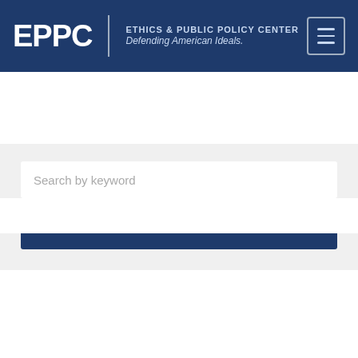EPPC | ETHICS & PUBLIC POLICY CENTER Defending American Ideals.
Search by keyword
SEARCH
Your support impacts the debate on critical issues of public policy.
DONATE TODAY